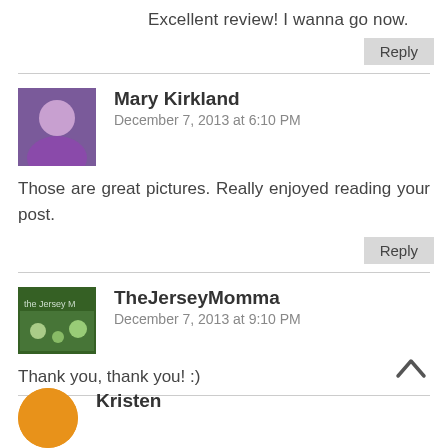Excellent review! I wanna go now.
Reply
Mary Kirkland
December 7, 2013 at 6:10 PM
Those are great pictures. Really enjoyed reading your post.
Reply
TheJerseyMomma
December 7, 2013 at 9:10 PM
Thank you, thank you! :)
Kristen